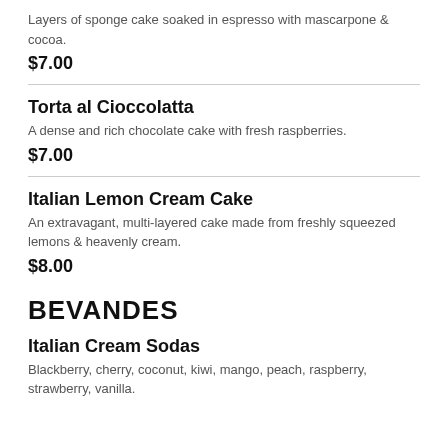Layers of sponge cake soaked in espresso with mascarpone & cocoa.
$7.00
Torta al Cioccolatta
A dense and rich chocolate cake with fresh raspberries.
$7.00
Italian Lemon Cream Cake
An extravagant, multi-layered cake made from freshly squeezed lemons & heavenly cream.
$8.00
BEVANDES
Italian Cream Sodas
Blackberry, cherry, coconut, kiwi, mango, peach, raspberry, strawberry, vanilla.